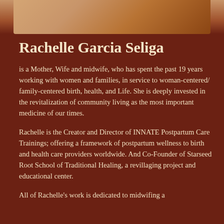[Figure (photo): Partial photo strip at top of page showing a person, cropped, warm skin tones visible]
Rachelle Garcia Seliga
is a Mother, Wife and midwife, who has spent the past 19 years working with women and families, in service to woman-centered/ family-centered birth, health, and Life. She is deeply invested in the revitalization of community living as the most important medicine of our times.
Rachelle is the Creator and Director of INNATE Postpartum Care Trainings; offering a framework of postpartum wellness to birth and health care providers worldwide. And Co-Founder of Starseed Root School of Traditional Healing, a revillaging project and educational center.
All of Rachelle's work is dedicated to midwifing a